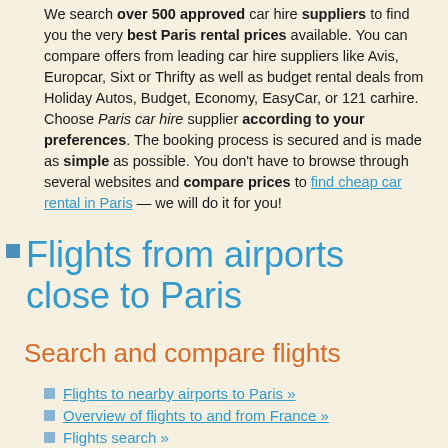We search over 500 approved car hire suppliers to find you the very best Paris rental prices available. You can compare offers from leading car hire suppliers like Avis, Europcar, Sixt or Thrifty as well as budget rental deals from Holiday Autos, Budget, Economy, EasyCar, or 121 carhire. Choose Paris car hire supplier according to your preferences. The booking process is secured and is made as simple as possible. You don't have to browse through several websites and compare prices to find cheap car rental in Paris — we will do it for you!
Flights from airports close to Paris
Search and compare flights
Flights to nearby airports to Paris »
Overview of flights to and from France »
Flights search »